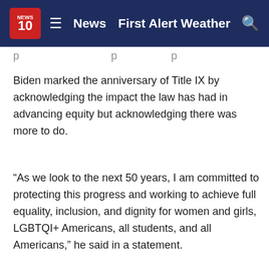NEWS 10 | News | First Alert Weather
Biden marked the anniversary of Title IX by acknowledging the impact the law has had in advancing equity but acknowledging there was more to do.
“As we look to the next 50 years, I am committed to protecting this progress and working to achieve full equality, inclusion, and dignity for women and girls, LGBTQI+ Americans, all students, and all Americans,” he said in a statement.
ADVERTISEMENT
Many of the proposed changes would restore Obama-era